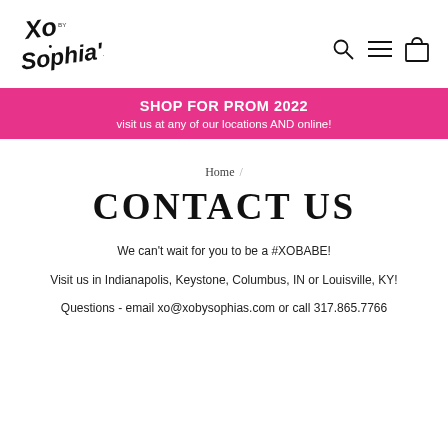XO by Sophia's — navigation header with logo, search, menu, and cart icons
SHOP FOR PROM 2022
visit us at any of our locations AND online!
Home /
CONTACT US
We can't wait for you to be a #XOBABE!
Visit us in Indianapolis, Keystone, Columbus, IN or Louisville, KY!
Questions - email xo@xobysophias.com or call 317.865.7766